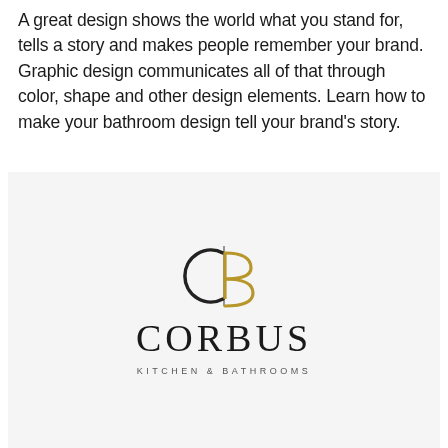A great design shows the world what you stand for, tells a story and makes people remember your brand. Graphic design communicates all of that through color, shape and other design elements. Learn how to make your bathroom design tell your brand's story.
[Figure (logo): Corbus Kitchen & Bathrooms logo on a light grey background. The logo features an interlocked C and B monogram above the text 'CORBUS' in large serif letters and 'KITCHEN & BATHROOMS' in small spaced caps below.]